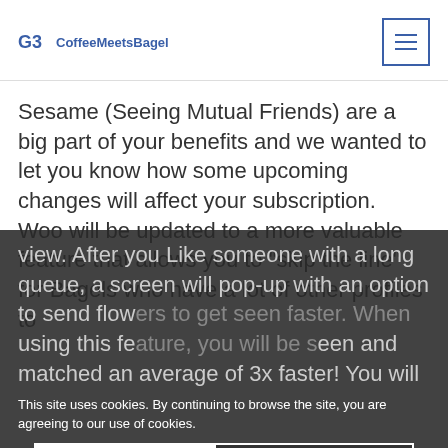CoffeeMeetsBagel
Sesame (Seeing Mutual Friends) are a big part of your benefits and we wanted to let you know how some upcoming changes will affect your subscription. Woo will be updated to a more valuable feature that allows you to “skip the line” for Bagels who have a lot of other profiles to view. After you Like someone with a long queue, a screen will pop-up with an option to send flowers to get seen faster. When using this feature, you will be seen and matched an average of 3x faster! You will
This site uses cookies. By continuing to browse the site, you are agreeing to our use of cookies.